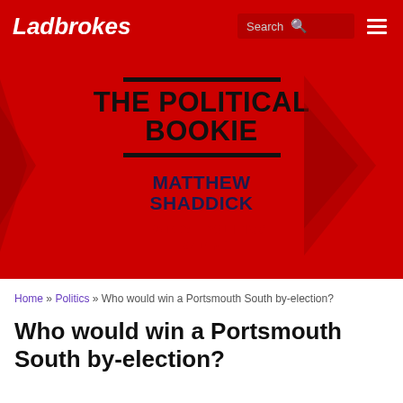Ladbrokes
[Figure (illustration): Red hero banner with 'THE POLITICAL BOOKIE' title text in bold black, horizontal black lines above and below the title, author name 'MATTHEW SHADDICK' in dark navy bold, role 'HEAD OF POLITICS TRADING' in bold red, with decorative arrow chevron shapes on the sides against a deep red background.]
Home » Politics » Who would win a Portsmouth South by-election?
Who would win a Portsmouth South by-election?